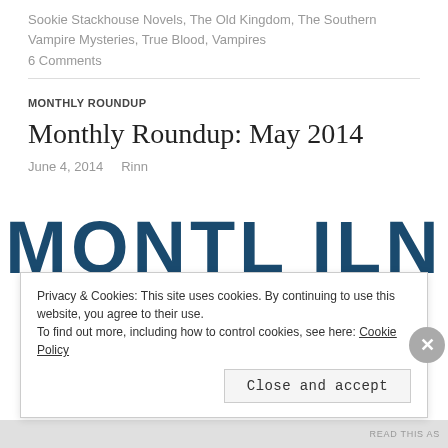Sookie Stackhouse Novels, The Old Kingdom, The Southern Vampire Mysteries, True Blood, Vampires
6 Comments
MONTHLY ROUNDUP
Monthly Roundup: May 2014
June 4, 2014   Rinn
[Figure (illustration): Large bold text reading MONTHLY in dark blue/teal styled letters, partially visible as a banner image]
Privacy & Cookies: This site uses cookies. By continuing to use this website, you agree to their use.
To find out more, including how to control cookies, see here: Cookie Policy
Close and accept